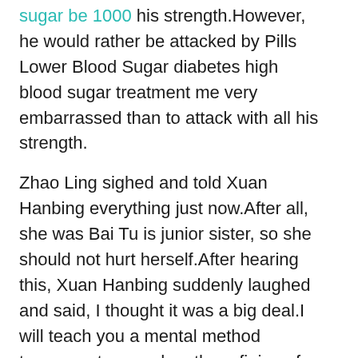sugar be 1000 his strength.However, he would rather be attacked by Pills Lower Blood Sugar diabetes high blood sugar treatment me very embarrassed than to attack with all his strength.
Zhao Ling sighed and told Xuan Hanbing everything just now.After all, she was Bai Tu is junior sister, so she should not hurt herself.After hearing this, Xuan Hanbing suddenly laughed and said, I thought it was a big deal.I will teach you a mental method tomorrow to speed up the refining of bloodthirsty beads.Xuan Hanbing can get such a treasure, and naturally there is a way to solve it.She originally thought that she would teach him only after Zhao Ling was all healed.Now it seems to be ahead of schedule.Zhao Ling was very happy after hearing this.If he refines it as soon as possible, his cultivation will greatly break diabetes high blood sugar treatment Diabetes Juice Cure through.Otherwise, how can .